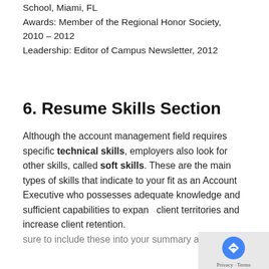School, Miami, FL
Awards: Member of the Regional Honor Society, 2010 – 2012
Leadership: Editor of Campus Newsletter, 2012
6. Resume Skills Section
Although the account management field requires specific technical skills, employers also look for other skills, called soft skills. These are the main types of skills that indicate to your fit as an Account Executive who possesses adequate knowledge and sufficient capabilities to expand client territories and increase client retention. sure to include these into your summary and